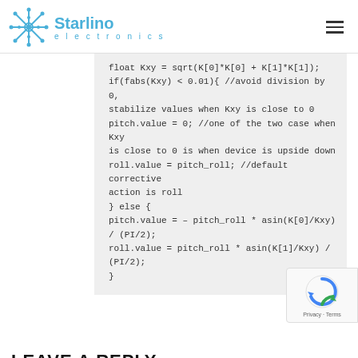Starlino electronics
float Kxy = sqrt(K[0]*K[0] + K[1]*K[1]);
if(fabs(Kxy) < 0.01){ //avoid division by 0, stabilize values when Kxy is close to 0
pitch.value = 0; //one of the two case when Kxy is close to 0 is when device is upside down
roll.value = pitch_roll; //default corrective action is roll
} else {
pitch.value = – pitch_roll * asin(K[0]/Kxy) / (PI/2);
roll.value = pitch_roll * asin(K[1]/Kxy) / (PI/2);
}
LEAVE A REPLY
COMMENT